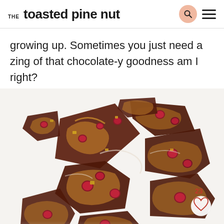THE toasted pine nut
growing up. Sometimes you just need a zing of that chocolate-y goodness am I right?
[Figure (photo): Overhead view of broken chocolate bark pieces with raspberry and peanut butter swirl on a white background, with a heart/like button showing 23 likes in the bottom right corner]